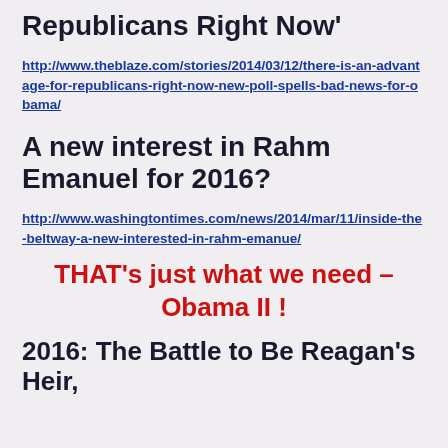Republicans Right Now'
http://www.theblaze.com/stories/2014/03/12/there-is-an-advantage-for-republicans-right-now-new-poll-spells-bad-news-for-obama/
A new interest in Rahm Emanuel for 2016?
http://www.washingtontimes.com/news/2014/mar/11/inside-the-beltway-a-new-interested-in-rahm-emanue/
THAT's just what we need – Obama II !
2016: The Battle to Be Reagan's Heir,